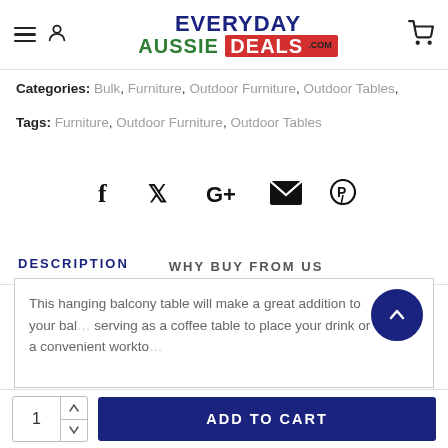[Figure (logo): Everyday Aussie Deals .com logo with navigation icons]
Categories: Bulk, Furniture, Outdoor Furniture, Outdoor Tables,
Tags: Furniture, Outdoor Furniture, Outdoor Tables
[Figure (infographic): Social sharing icons: Facebook, Twitter, Google+, Email, Pinterest]
DESCRIPTION
WHY BUY FROM US
This hanging balcony table will make a great addition to your bal... serving as a coffee table to place your drink or a convenient workto...